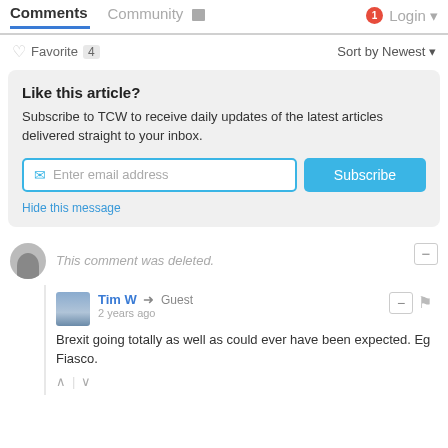Comments  Community  Login
Favorite 4  Sort by Newest
Like this article?
Subscribe to TCW to receive daily updates of the latest articles delivered straight to your inbox.
Enter email address  Subscribe
Hide this message
This comment was deleted.
Tim W → Guest
2 years ago
Brexit going totally as well as could ever have been expected. Eg Fiasco.